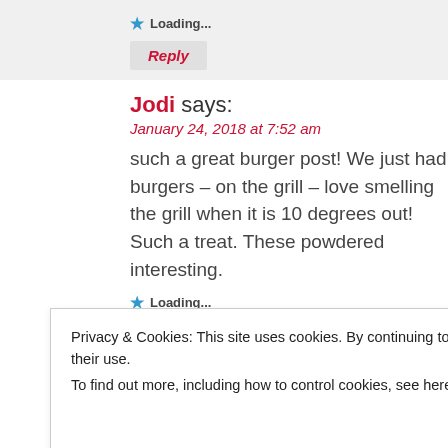★ Loading...
Reply
Jodi says:
January 24, 2018 at 7:52 am
such a great burger post! We just had burgers – on the grill – love smelling the grill when it is 10 degrees out! Such a treat. These powdered interesting.
★ Loading...
Reply
the Painted Apron says:
Privacy & Cookies: This site uses cookies. By continuing to use this website, you agree to their use.
To find out more, including how to control cookies, see here: Cookie Policy
Close and accept